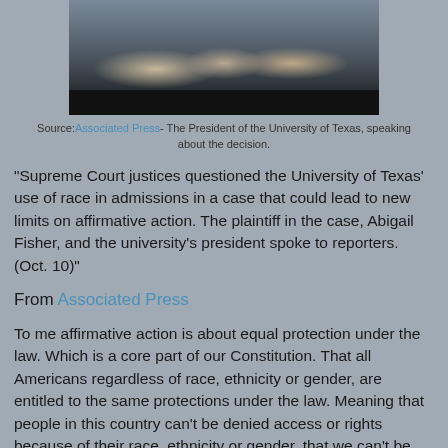[Figure (photo): A press conference scene showing multiple people speaking to reporters with microphones, the President of the University of Texas among them.]
Source: Associated Press - The President of the University of Texas, speaking about the decision.
"Supreme Court justices questioned the University of Texas' use of race in admissions in a case that could lead to new limits on affirmative action. The plaintiff in the case, Abigail Fisher, and the university's president spoke to reporters. (Oct. 10)"
From Associated Press
To me affirmative action is about equal protection under the law. Which is a core part of our Constitution. That all Americans regardless of race, ethnicity or gender, are entitled to the same protections under the law. Meaning that people in this country can't be denied access or rights because of their race, ethnicity or gender, that we can't be denied a job, housing or college, because of our race, ethnicity or gender, meaning the public or private sector